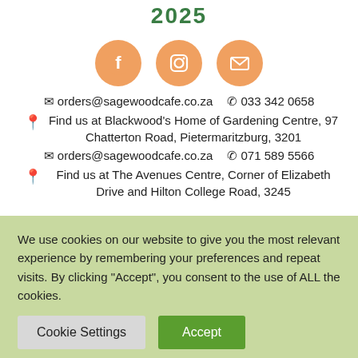2025
[Figure (illustration): Three orange circular social media icons: Facebook, Instagram, and Email/envelope]
✉ orders@sagewoodcafe.co.za   ✆ 033 342 0658
Find us at Blackwood's Home of Gardening Centre, 97 Chatterton Road, Pietermaritzburg, 3201
✉ orders@sagewoodcafe.co.za   ✆ 071 589 5566
Find us at The Avenues Centre, Corner of Elizabeth Drive and Hilton College Road, 3245
We use cookies on our website to give you the most relevant experience by remembering your preferences and repeat visits. By clicking "Accept", you consent to the use of ALL the cookies.